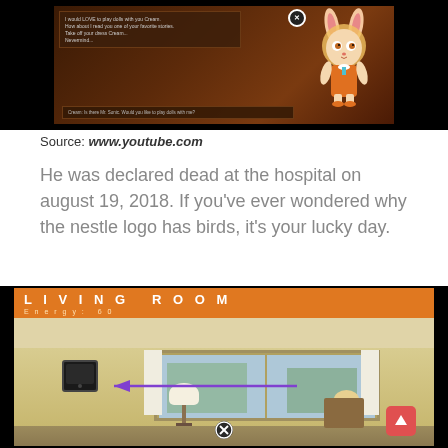[Figure (screenshot): Screenshot of an animated video game or visual novel featuring a cartoon rabbit character in an orange dress, with a dark dialogue box showing menu options on the left side. A close button (X) is visible.]
Source: www.youtube.com
He was declared dead at the hospital on august 19, 2018. If you've ever wondered why the nestle logo has birds, it's your lucky day.
[Figure (screenshot): Screenshot of a 'Living Room' game scene with Energy: 60 shown in an orange header bar. Below is a real photo of a living room with a purple arrow pointing to a black device mounted on the wall. A red button with an upward arrow is in the bottom right, and a close (X) button is at the bottom center.]